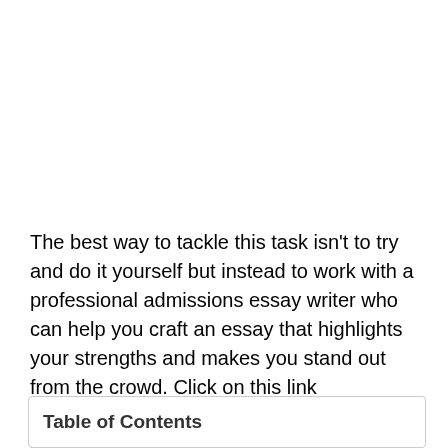The best way to tackle this task isn't to try and do it yourself but instead to work with a professional admissions essay writer who can help you craft an essay that highlights your strengths and makes you stand out from the crowd. Click on this link (https://writemyessays.college/my-admission-essay/) to learn more about it.
Table of Contents